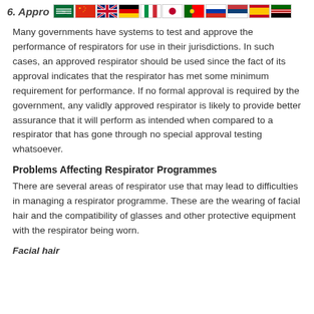6. Appro [flags]
Many governments have systems to test and approve the performance of respirators for use in their jurisdictions. In such cases, an approved respirator should be used since the fact of its approval indicates that the respirator has met some minimum requirement for performance. If no formal approval is required by the government, any validly approved respirator is likely to provide better assurance that it will perform as intended when compared to a respirator that has gone through no special approval testing whatsoever.
Problems Affecting Respirator Programmes
There are several areas of respirator use that may lead to difficulties in managing a respirator programme. These are the wearing of facial hair and the compatibility of glasses and other protective equipment with the respirator being worn.
Facial hair